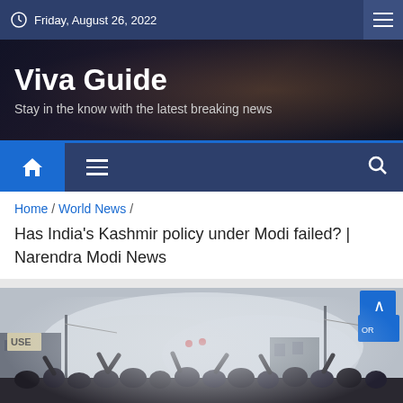Friday, August 26, 2022
Viva Guide
Stay in the know with the latest breaking news
Home / World News /
Has India's Kashmir policy under Modi failed? | Narendra Modi News
[Figure (photo): Protest scene with crowd and smoke in what appears to be a city street in Kashmir]